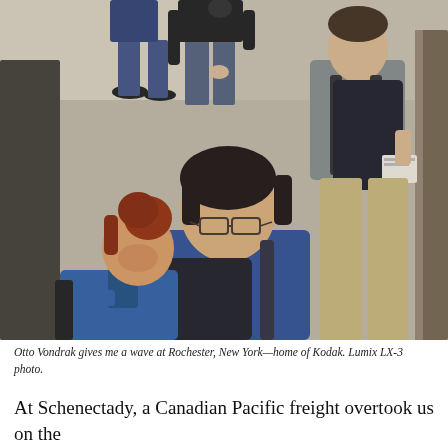[Figure (photo): Overhead/top-down photo of people boarding or standing at the entrance of a train or bus. In the foreground, a person with dark hair wearing a blue jacket with a backpack looks downward. To their left, a woman with reddish hair in a bun wearing a blue uniform jacket. To the right, a young man in a grey t-shirt with a backpack holds a piece of paper. In the background, a person in a black shirt and jeans stands near another person in blue trousers and dark shoes. The setting appears to be an outdoor platform or transit vehicle entrance.]
Otto Vondrak gives me a wave at Rochester, New York—home of Kodak. Lumix LX-3 photo.
At Schenectady, a Canadian Pacific freight overtook us on the